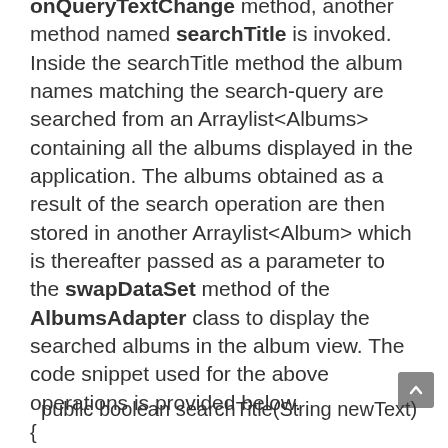onQueryTextChange method, another method named searchTitle is invoked. Inside the searchTitle method the album names matching the search-query are searched from an Arraylist<Albums> containing all the albums displayed in the application. The albums obtained as a result of the search operation are then stored in another Arraylist<Album> which is thereafter passed as a parameter to the swapDataSet method of the AlbumsAdapter class to display the searched albums in the album view. The code snippet used for the above operations is provided below.
public boolean searchTitle(String newText) {